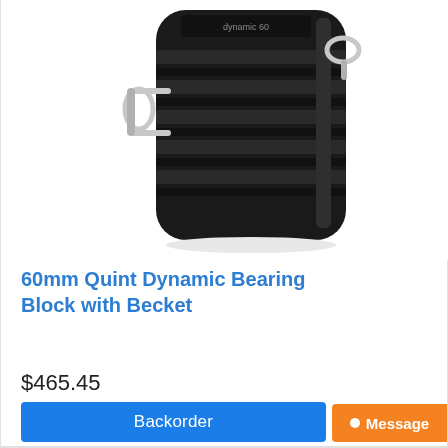[Figure (photo): A black 60mm Quint Dynamic Bearing Block with Becket sailing pulley block, showing multiple sheaves stacked vertically with stainless steel shackle hardware on left and right sides, photographed against a white background.]
60mm Quint Dynamic Bearing Block with Becket
$465.45
Backorder
Message